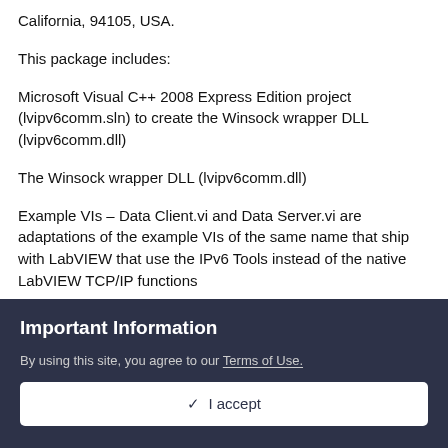California, 94105, USA.
This package includes:
Microsoft Visual C++ 2008 Express Edition project (lvipv6comm.sln) to create the Winsock wrapper DLL (lvipv6comm.dll)
The Winsock wrapper DLL (lvipv6comm.dll)
Example VIs – Data Client.vi and Data Server.vi are adaptations of the example VIs of the same name that ship with LabVIEW that use the IPv6 Tools instead of the native LabVIEW TCP/IP functions
For LabVIEW 8.0 and 8.5, a LabVIEW project exists (TCPIPv6.lvproj) and the TCP function VIs are in a LabVIEW library (TCPIPv6 Comm.lvlib). For LabVIEW 7.1, the TCP function VIs are in
Important Information
By using this site, you agree to our Terms of Use.
✓  I accept